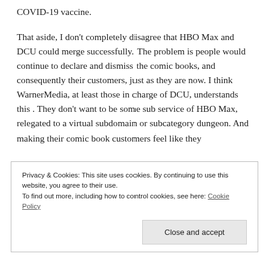COVID-19 vaccine.
That aside, I don't completely disagree that HBO Max and DCU could merge successfully. The problem is people would continue to declare and dismiss the comic books, and consequently their customers, just as they are now. I think WarnerMedia, at least those in charge of DCU, understands this . They don't want to be some sub service of HBO Max, relegated to a virtual subdomain or subcategory dungeon. And making their comic book customers feel like they
Privacy & Cookies: This site uses cookies. By continuing to use this website, you agree to their use.
To find out more, including how to control cookies, see here: Cookie Policy
Close and accept